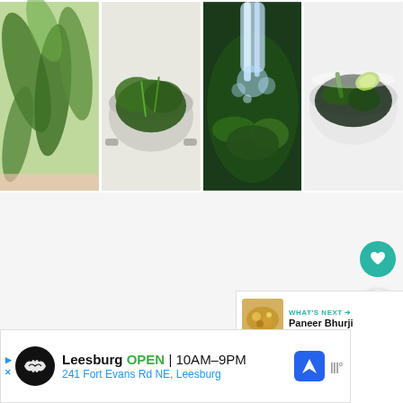[Figure (photo): Four-panel photo strip showing spinach preparation steps: fresh raw spinach leaves, blanched spinach in colander, spinach being rinsed under running water, spinach soaking in cold water with lime]
[Figure (screenshot): App UI area with heart (favorite) button and share button floating on right side; 'What's Next' card showing Paneer Bhurji thumbnail]
[Figure (photo): Advertisement banner for Leesburg store: OPEN 10AM-9PM, 241 Fort Evans Rd NE, Leesburg, with navigation icon and weather widget]